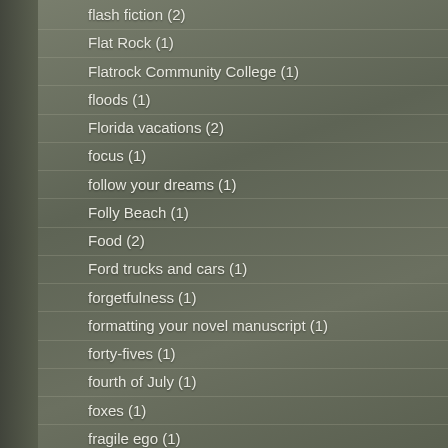flash fiction (2)
Flat Rock (1)
Flatrock Community College (1)
floods (1)
Florida vacations (2)
focus (1)
follow your dreams (1)
Folly Beach (1)
Food (2)
Ford trucks and cars (1)
forgetfulness (1)
formatting your novel manuscript (1)
forty-fives (1)
fourth of July (1)
foxes (1)
fragile ego (1)
France (1)
Fred chappell (2)
free newsletter (1)